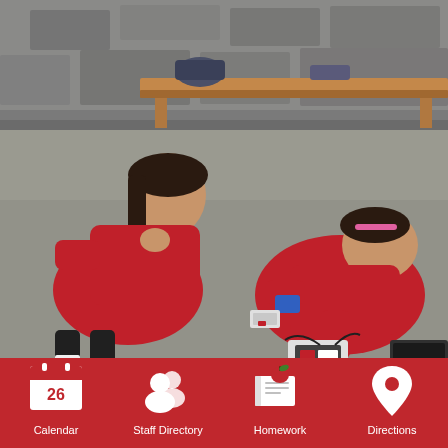[Figure (photo): Two students in red hoodies working on LEGO robotics on a floor, one leaning over adjusting a robot while the other watches]
[Figure (infographic): Red navigation bar with four icons and labels: Calendar (showing 26), Staff Directory, Homework, Directions]